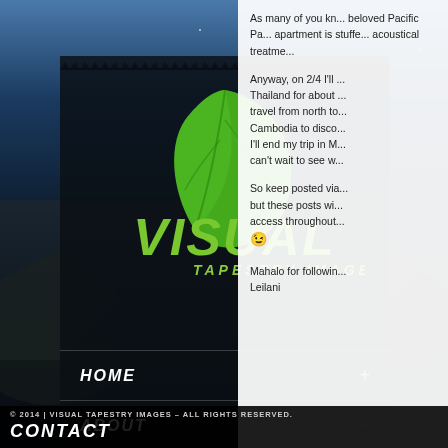[Figure (screenshot): Website screenshot of Visual Tapestry Images with dark navigation panel on left showing logo, HOME, ABOUT, INSTAGRAM, TUMBLR menu items, and blog text on right side]
As many of you kn... beloved Pacific Pa... apartment is stuffe... acoustical treatme...
Anyway, on 2/4 I'll ... Thailand for about ... travel from north to... Cambodia to disco... I'll end my trip in M... can't wait to see w...
So keep posted via... but these posts wi... access throughout... 😉
Mahalo for followin... Leilani
HOME
ABOUT
INSTAGRAM
TUMBLR
© 2014 | VISUAL TAPESTRY IMAGES – ALL RIGHTS RESERVED.
CONTACT